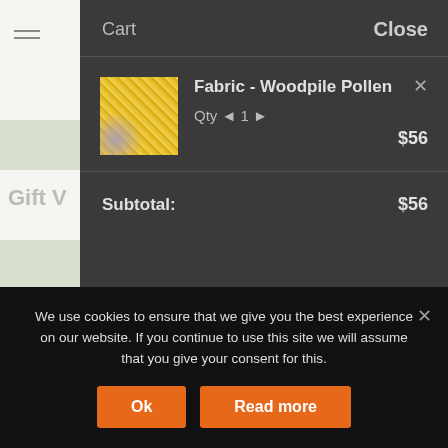[Figure (screenshot): Left sidebar with hamburger menu icon and partial 'Gift' label on light grey/green background]
Cart
Close
[Figure (photo): Thumbnail image of golden/yellow textured fabric (Woodpile Pollen)]
Fabric - Woodpile Pollen
Qty ◄ 1 ► $56
Subtotal: $56
We use cookies to ensure that we give you the best experience on our website. If you continue to use this site we will assume that you give your consent for this.
Ok
Read more